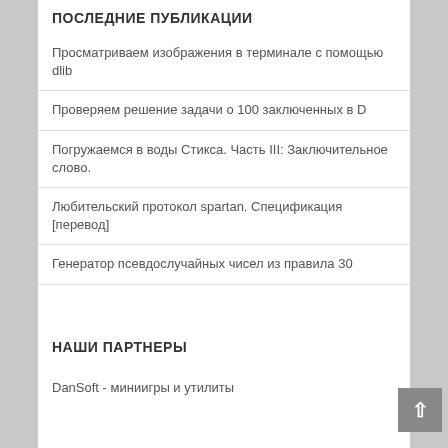ПОСЛЕДНИЕ ПУБЛИКАЦИИ
Просматриваем изображения в терминале с помощью dlib
Проверяем решение задачи о 100 заключенных в D
Погружаемся в воды Стикса. Часть III: Заключительное слово.
Любительский протокол spartan. Спецификация [перевод]
Генератор псевдослучайных чисел из правила 30
НАШИ ПАРТНЕРЫ
DanSoft - миниигры и утилиты